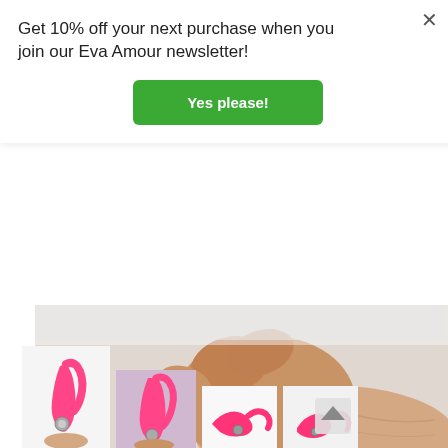Get 10% off your next purchase when you join our Eva Amour newsletter!
Yes please!
[Figure (photo): Close-up photo of a hand/wrist against a white background]
[Figure (photo): Thumbnail: hand holding a pink vibrator product, white background]
[Figure (photo): Thumbnail: hand holding a pink vibrator product, pink/mauve background]
[Figure (photo): Thumbnail: pink vibrator product lying flat, white background]
[Figure (photo): Thumbnail: pink vibrator product with scroll-up arrow overlay, white background]